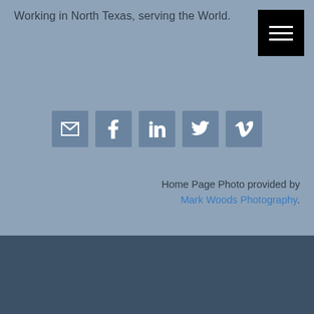Working in North Texas, serving the World.
[Figure (other): Hamburger menu button (three horizontal white lines on black background)]
[Figure (other): Row of five social media icon buttons (email, Facebook, LinkedIn, Twitter, Vimeo) in muted blue-gray squares]
Home Page Photo provided by Mark Woods Photography.
Copyright © 2022 Steven Horn - All Rights Reserved · Websenfinity Pro On Genesis Framework · WordPress